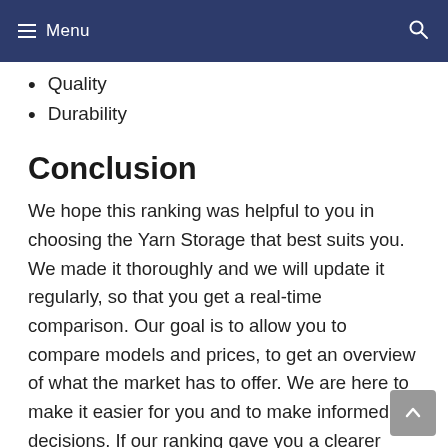Menu
Quality
Durability
Conclusion
We hope this ranking was helpful to you in choosing the Yarn Storage that best suits you. We made it thoroughly and we will update it regularly, so that you get a real-time comparison. Our goal is to allow you to compare models and prices, to get an overview of what the market has to offer. We are here to make it easier for you and to make informed decisions. If our ranking gave you a clearer view on the different products available, feel free to let us know in the comments section. We will happily